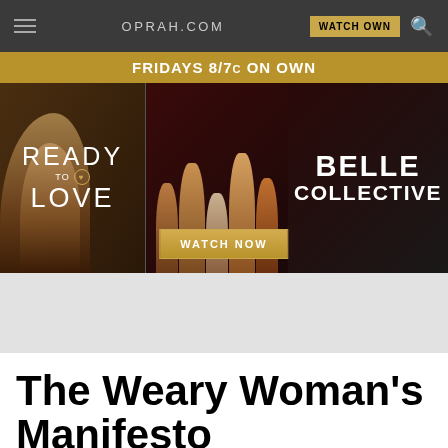OPRAH.COM
[Figure (screenshot): Website advertisement banner for OWN network shows 'Ready to Love' and 'Belle Collective' with 'Fridays 8/7c on OWN' header and 'Watch Now' button]
The Weary Woman's Manifesto
In the face of fatigue, one woman committed a radical act: She rested.